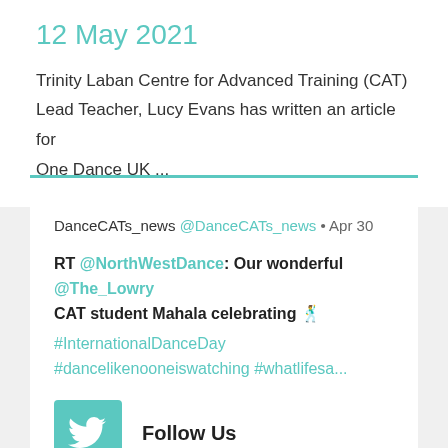12 May 2021
Trinity Laban Centre for Advanced Training (CAT) Lead Teacher, Lucy Evans has written an article for One Dance UK ...
DanceCATs_news @DanceCATs_news • Apr 30
RT @NorthWestDance: Our wonderful @The_Lowry CAT student Mahala celebrating 🕺 #InternationalDanceDay #dancelikenooneiswatching #whatlifesa...
Follow Us